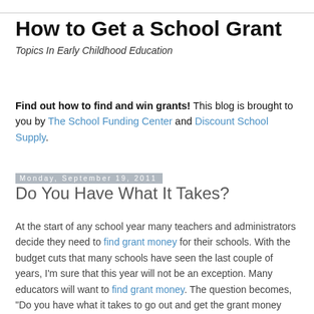How to Get a School Grant
Topics In Early Childhood Education
Find out how to find and win grants! This blog is brought to you by The School Funding Center and Discount School Supply.
Monday, September 19, 2011
Do You Have What It Takes?
At the start of any school year many teachers and administrators decide they need to find grant money for their schools. With the budget cuts that many schools have seen the last couple of years, I'm sure that this year will not be an exception. Many educators will want to find grant money. The question becomes, "Do you have what it takes to go out and get the grant money you need?"